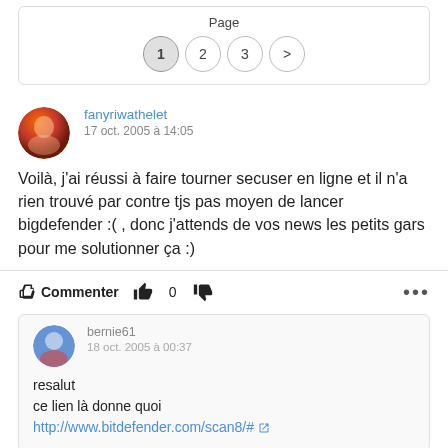Page
1 2 3 >
fanyriwathelet
17 oct. 2005 à 14:05
Voilà, j'ai réussi à faire tourner secuser en ligne et il n'a rien trouvé par contre tjs pas moyen de lancer bigdefender :( , donc j'attends de vos news les petits gars pour me solutionner ça :)
Commenter 0 ...
bernie61
18 oct. 2005 à 00:37
resalut
ce lien là donne quoi
http://www.bitdefender.com/scan8/#